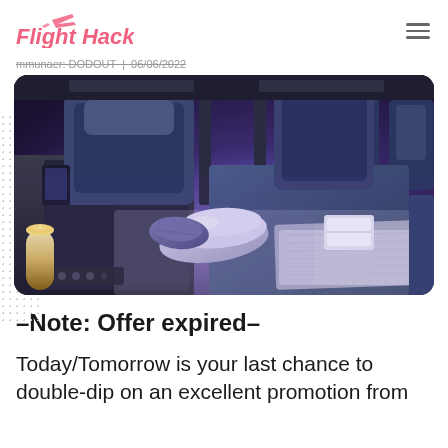Flight Hacks
mmunaer: DODOUT | 06/06/2022
[Figure (photo): Interior of an airline business class cabin showing flat-bed seats with pillows and blankets under purple/blue ambient lighting]
–Note: Offer expired–
Today/Tomorrow is your last chance to double-dip on an excellent promotion from